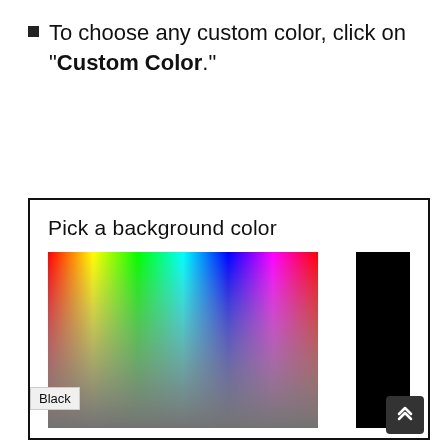To choose any custom color, click on "Custom Color."
[Figure (screenshot): A color picker dialog showing 'Pick a background color' with a rainbow gradient color field, a brightness/darkness slider bar on the right (currently set to black), a tooltip showing 'Black', and a scroll-to-top button in the bottom right corner.]